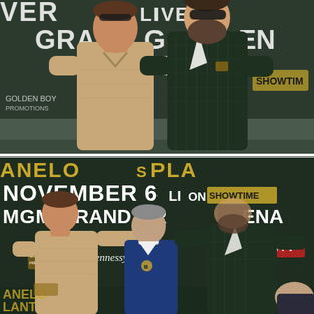[Figure (photo): Two fighters facing off at a press conference. Left fighter (Canelo Alvarez) in a tan/khaki polo shirt with sunglasses on head. Right fighter (Caleb Plant) in a dark green plaid suit with beard and sunglasses. Background banner reads 'CANELO vs PLANT NOVEMBER 6 LIVE ON SHOWTIME MGM GRAND GARDEN ARENA' with Showtime logo. Outdoor press conference setting.]
[Figure (photo): Bottom photo shows the same two fighters at the same press conference with 'ANELO vs PLA NOVEMBER 6 LIVE ON SHOWTIME MGM GRAND GARDEN ARENA' banner behind them. There appears to be a physical altercation beginning with a third person (promoter/referee) in a blue suit between them. Hennessy and Golden Boy Promotions sponsors visible. Bottom left corner shows 'ANELO LANT' text on banner.]